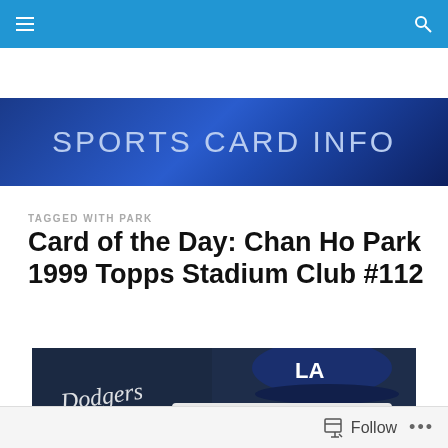Sports Card Info — navigation bar
[Figure (logo): Sports Card Info website banner with blue gradient background and white text reading SPORTS CARD INFO]
TAGGED WITH PARK
Card of the Day: Chan Ho Park 1999 Topps Stadium Club #112
[Figure (photo): Baseball card showing Chan Ho Park in a Los Angeles Dodgers uniform, with the LA cap and Dodgers text visible]
Follow